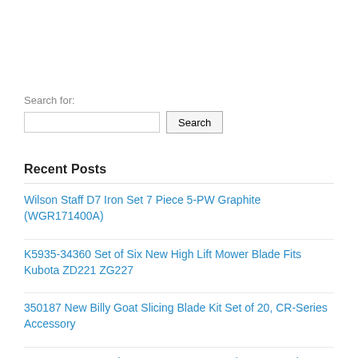Search for:
Search
Recent Posts
Wilson Staff D7 Iron Set 7 Piece 5-PW Graphite (WGR171400A)
K5935-34360 Set of Six New High Lift Mower Blade Fits Kubota ZD221 ZG227
350187 New Billy Goat Slicing Blade Kit Set of 20, CR-Series Accessory
Tour Stage MR-23 irons 3-Pw RARE Brand new-never been used